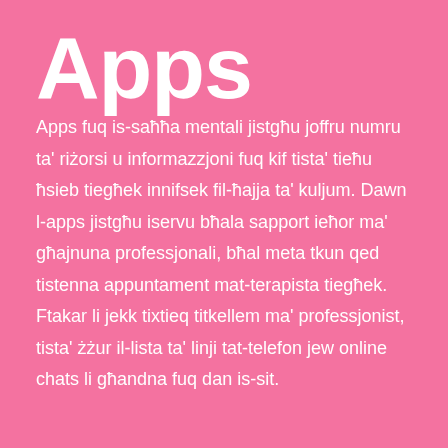Apps
Apps fuq is-saħħa mentali jistgħu joffru numru ta' riżorsi u informazzjoni fuq kif tista' tieħu ħsieb tiegħek innifsek fil-ħajja ta' kuljum. Dawn l-apps jistgħu iservu bħala sapport ieħor ma' għajnuna professjonali, bħal meta tkun qed tistenna appuntament mat-terapista tiegħek. Ftakar li jekk tixtieq titkellem ma' professjonist, tista' żżur il-lista ta' linji tat-telefon jew online chats li għandna fuq dan is-sit.